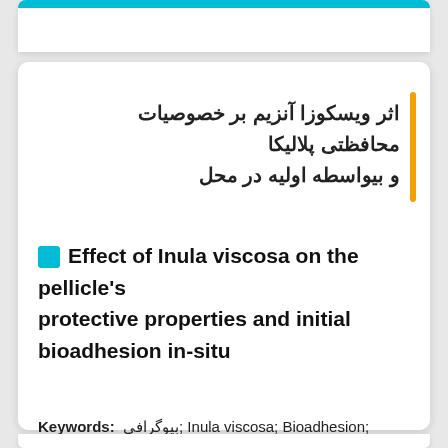اثر ویسکوزا آنزیم بر خصوصیات محافظتی پلالیکا و بیواسطه اولیه در محل
Effect of Inula viscosa on the pellicle's protective properties and initial bioadhesion in-situ
Keywords: بیوگرافی; Inula viscosa; Bioadhesion; Erosion; Pellicle; Biofilm